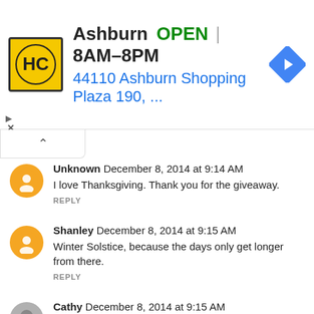[Figure (infographic): Advertisement banner for Hairclub (HC) at Ashburn location. Shows HC logo in yellow/black, text: Ashburn OPEN 8AM-8PM, 44110 Ashburn Shopping Plaza 190, with a blue navigation arrow icon. Small play and close icons on left.]
Unknown  December 8, 2014 at 9:14 AM
I love Thanksgiving. Thank you for the giveaway.
REPLY
Shanley  December 8, 2014 at 9:15 AM
Winter Solstice, because the days only get longer from there.
REPLY
Cathy  December 8, 2014 at 9:15 AM
I love Christmas! I do follow you
REPLY